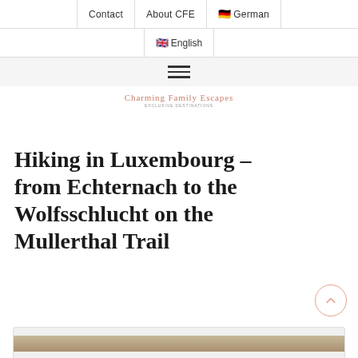Contact | About CFE | 🇩🇪 German | 🇬🇧 English
[Figure (other): Hamburger menu icon with three horizontal lines]
Charming Family Escapes · EXCLUSIVE DESTINATIONS
Hiking in Luxembourg – from Echternach to the Wolfsschlucht on the Mullerthal Trail
[Figure (photo): Partial view of a landscape photo at the bottom of the page]